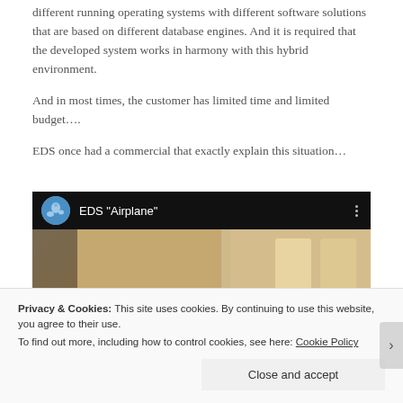different running operating systems with different software solutions that are based on different database engines. And it is required that the developed system works in harmony with this hybrid environment.
And in most times, the customer has limited time and limited budget….
EDS once had a commercial that exactly explain this situation…
[Figure (screenshot): YouTube-style video embed showing EDS 'Airplane' video with dark header bar, thumbnail of airplane interior scene]
Privacy & Cookies: This site uses cookies. By continuing to use this website, you agree to their use.
To find out more, including how to control cookies, see here: Cookie Policy